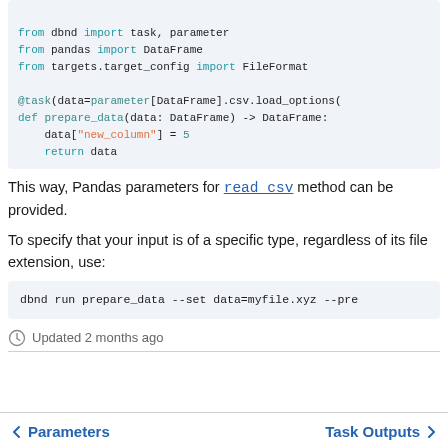[Figure (screenshot): Code block showing Python imports and a @task decorated function prepare_data using dbnd, pandas, and targets libraries]
This way, Pandas parameters for read_csv method can be provided.
To specify that your input is of a specific type, regardless of its file extension, use:
[Figure (screenshot): Command line code block: dbnd run prepare_data --set data=myfile.xyz --pre]
Updated 2 months ago
← Parameters    Task Outputs →